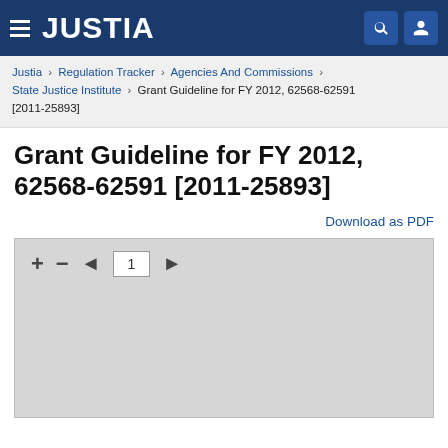JUSTIA
Justia › Regulation Tracker › Agencies And Commissions › State Justice Institute › Grant Guideline for FY 2012, 62568-62591 [2011-25893]
Grant Guideline for FY 2012, 62568-62591 [2011-25893]
Download as PDF
[Figure (screenshot): PDF viewer toolbar with zoom in (+), zoom out (-), previous page arrow, page number input box showing 1, and next page arrow (►). Below is a grey placeholder area for the document content.]